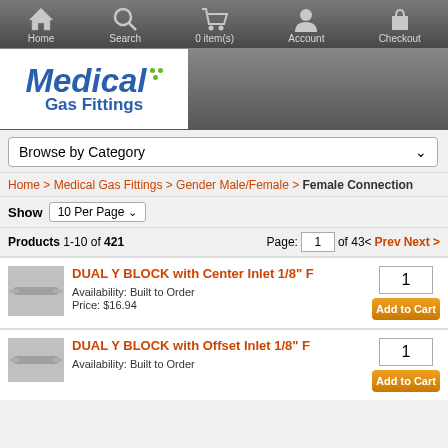Home | Search | 0 item(s) | Account | Checkout
[Figure (logo): Medical Gas Fittings logo with blue italic text and green dots]
Browse by Category
Home > Medical Gas Fittings > Gender Male/Female > Female Connection
Show 10 Per Page
Products 1-10 of 421 | Page: 1 of 43 < Prev Next >
DUAL Y BLOCK with Center Inlet 1/8" F
Availability: Built to Order
Price: $16.94
DUAL Y BLOCK with Offset Inlet 1/8" F
Availability: Built to Order